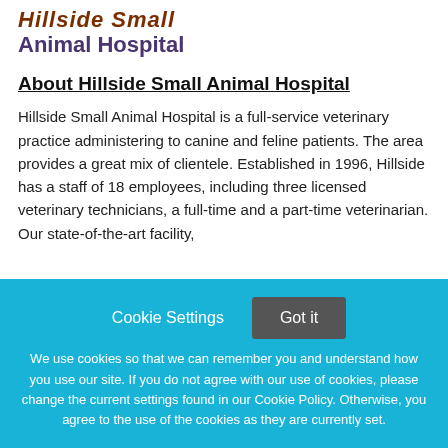[Figure (logo): Hillside Small Animal Hospital logo with stylized text in dark red/italic for 'Hillside Small' and purple for 'Animal Hospital']
About Hillside Small Animal Hospital
Hillside Small Animal Hospital is a full-service veterinary practice administering to canine and feline patients. The area provides a great mix of clientele. Established in 1996, Hillside has a staff of 18 employees, including three licensed veterinary technicians, a full-time and a part-time veterinarian. Our state-of-the-art facility,
Cookie Settings  Got it
We use cookies so that we can remember you and understand how you use our site. If you do not agree with our use of cookies, please change the current settings found in our Cookie Policy. Otherwise, you agree to the use of the cookies as they are currently set.